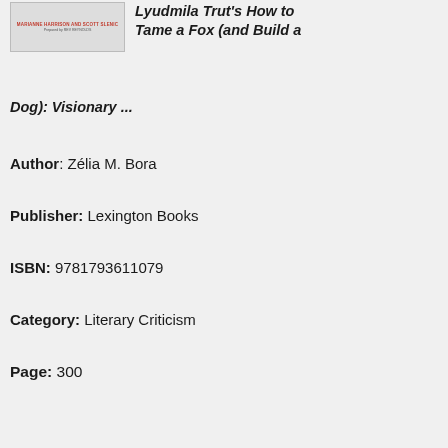[Figure (illustration): Book cover thumbnail showing text in red and small author/presenter names]
Lyudmila Trut's How to Tame a Fox (and Build a Dog): Visionary ...
Author: Zélia M. Bora
Publisher: Lexington Books
ISBN: 9781793611079
Category: Literary Criticism
Page: 300
View: 538
DOWNLOAD →
Throughout the world, people spend much their time with animal companions of various kinds, frequently with cats and dogs. What